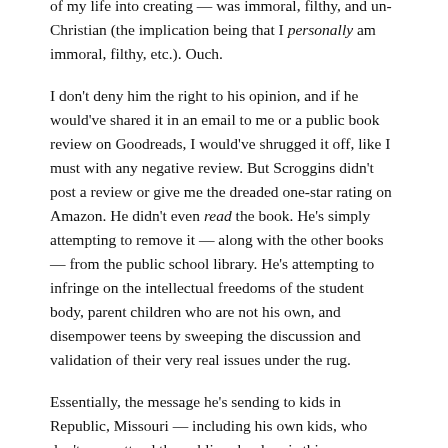of my life into creating — was immoral, filthy, and un-Christian (the implication being that I personally am immoral, filthy, etc.). Ouch.
I don't deny him the right to his opinion, and if he would've shared it in an email to me or a public book review on Goodreads, I would've shrugged it off, like I must with any negative review. But Scroggins didn't post a review or give me the dreaded one-star rating on Amazon. He didn't even read the book. He's simply attempting to remove it — along with the other books — from the public school library. He's attempting to infringe on the intellectual freedoms of the student body, parent children who are not his own, and disempower teens by sweeping the discussion and validation of their very real issues under the rug.
Essentially, the message he's sending to kids in Republic, Missouri — including his own kids, who don't even attend the public school — is this: